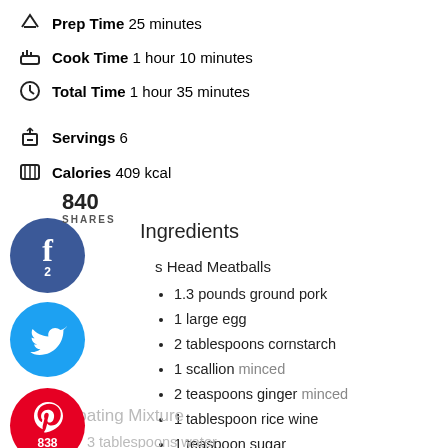Prep Time 25 minutes
Cook Time 1 hour 10 minutes
Total Time 1 hour 35 minutes
Servings 6
Calories 409 kcal
840
SHARES
Ingredients
s Head Meatballs
1.3 pounds ground pork
1 large egg
2 tablespoons cornstarch
1 scallion minced
2 teaspoons ginger minced
1 tablespoon rice wine
1 teaspoon sugar
1/2 teaspoon salt
1/2 teaspoon pepper
4 tablespoons water
Coating Mixture
3 tablespoons water